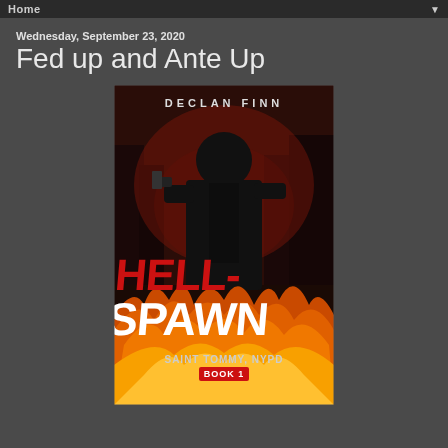Home
Wednesday, September 23, 2020
Fed up and Ante Up
[Figure (illustration): Book cover for 'Hell-Spawn' by Declan Finn. Shows a dark silhouetted man holding a gun against a city background with flames. Red and white stylized text reads 'HELL-SPAWN' with subtitle 'Saint Tommy, NYPD Book 1'. Author name 'DECLAN FINN' appears at top.]